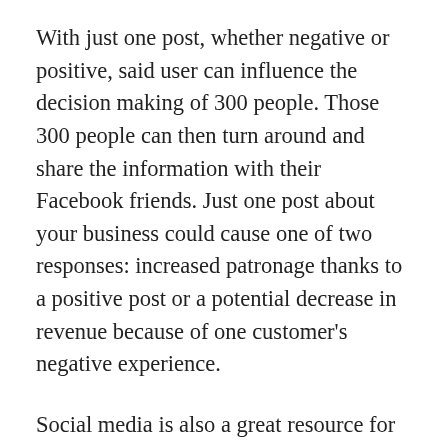With just one post, whether negative or positive, said user can influence the decision making of 300 people. Those 300 people can then turn around and share the information with their Facebook friends. Just one post about your business could cause one of two responses: increased patronage thanks to a positive post or a potential decrease in revenue because of one customer's negative experience.
Social media is also a great resource for customer service. With proper social media management, you can see what customers are saying about your company. You also have the opportunity to solve problems much faster than you once did. A customer is more likely to vent online than in